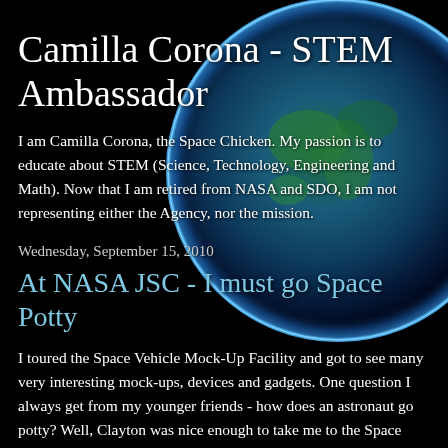Camilla Corona - STEM Ambassador
I am Camilla Corona, the Space Chicken. My passion is to educate about STEM (Science, Technology, Engineering and Math). Now that I am retired from NASA and SDO, I am not representing either the Agency, nor the mission.
Wednesday, September 15, 2010
At NASA JSC - I must go Space Potty
I toured the Space Vehicle Mock-Up Facility and got to see many very interesting mock-ups, devices and gadgets. One question I always get from my younger friends - how does an astronaut go potty? Well, Clayton was nice enough to take me to the Space Potty Trainer. I will tell you more about
[Figure (illustration): Earth from space viewed from orbit — glowing blue atmosphere with continents visible, set against black space background]